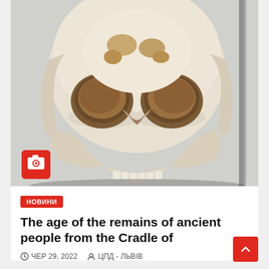[Figure (photo): A fossilized hominid skull displayed frontally, showing large eye socket cavities with brown/rust-colored fossil material visible, white/cream colored bone reconstruction, against a light grey background. A red camera icon badge is visible in the lower left of the image.]
НОВИНИ
The age of the remains of ancient people from the Cradle of
ЧЕР 29, 2022   ЦПД - ЛЬВІВ